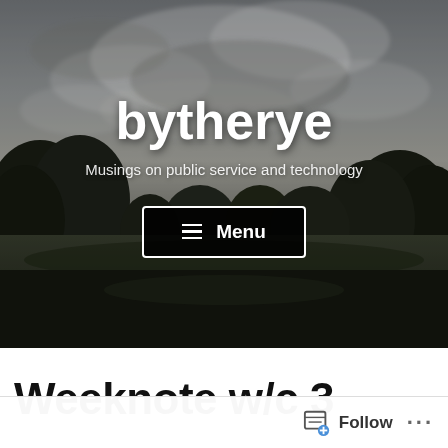[Figure (photo): Hero banner photo of a park or golf course with dark trees in the foreground and a dramatic cloudy sky. The image is dark/moody in tone.]
bytherye
Musings on public service and technology
≡ Menu
Weeknote w/c 3
Follow ...